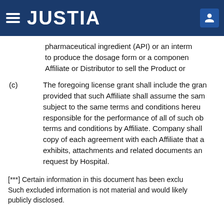JUSTIA
pharmaceutical ingredient (API) or an intermediate to produce the dosage form or a component Affiliate or Distributor to sell the Product or
(c) The foregoing license grant shall include the grant provided that such Affiliate shall assume the same subject to the same terms and conditions hereunder responsible for the performance of all of such obligations terms and conditions by Affiliate. Company shall copy of each agreement with each Affiliate that a exhibits, attachments and related documents and request by Hospital.
[***] Certain information in this document has been excluded. Such excluded information is not material and would likely publicly disclosed.